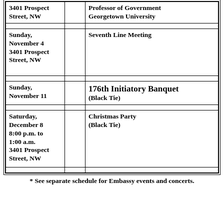| Date/Location |  | Event |
| --- | --- | --- |
| 3401 Prospect Street, NW |  | Professor of Government Georgetown University |
|  |  |  |
| Sunday, November 4 3401 Prospect Street, NW |  | Seventh Line Meeting |
| Sunday, November 11 |  | 176th Initiatory Banquet (Black Tie) |
| Saturday, December 8 8:00 p.m. to 1:00 a.m. 3401 Prospect Street, NW |  | Christmas Party (Black Tie) |
* See separate schedule for Embassy events and concerts.